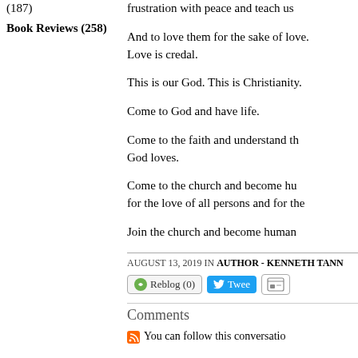(187)
Book Reviews (258)
frustration with peace and teach us
And to love them for the sake of love. Love is credal.
This is our God. This is Christianity.
Come to God and have life.
Come to the faith and understand th... God loves.
Come to the church and become hu... for the love of all persons and for the...
Join the church and become human...
AUGUST 13, 2019 IN AUTHOR - KENNETH TANN...
Comments
You can follow this conversatio...